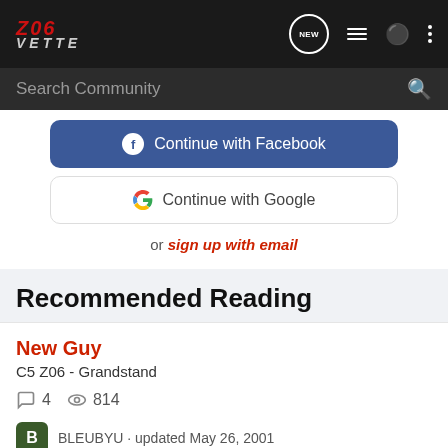[Figure (screenshot): Z06Vette forum navigation bar with logo, NEW chat icon, list icon, user icon, and dots menu]
[Figure (screenshot): Search Community search bar with magnifying glass icon]
Continue with Facebook
Continue with Google
or sign up with email
Recommended Reading
New Guy
C5 Z06 - Grandstand
4   814
BLEUBYU · updated May 26, 2001